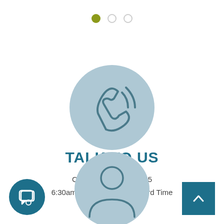[Figure (infographic): Three pagination dots: first filled olive/yellow, second and third empty circle outlines]
[Figure (illustration): Light blue circle with a telephone handset icon and signal waves, indicating call/phone contact]
TALK TO US
Call us at 800-541-2455
6:30am - 4pm Pacific Standard Time
[Figure (illustration): Dark teal circular chat/message button icon in bottom-left corner]
[Figure (illustration): Light blue circle with a person/user silhouette icon, partially visible at bottom center]
[Figure (illustration): Dark teal square scroll-to-top button with upward chevron arrow in bottom-right corner]